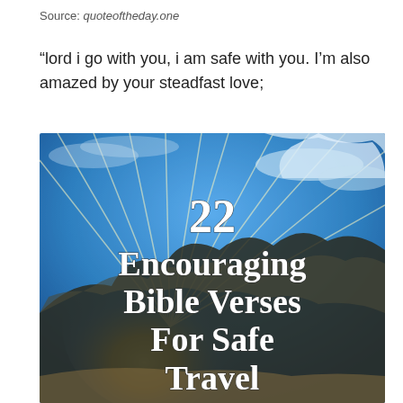Source: quoteoftheday.one
“lord i go with you, i am safe with you. I’m also amazed by your steadfast love;
[Figure (illustration): Inspirational image with sunbeams bursting through dramatic clouds against a blue sky. White bold serif text overlay reads: '22 Encouraging Bible Verses For Safe Travel']